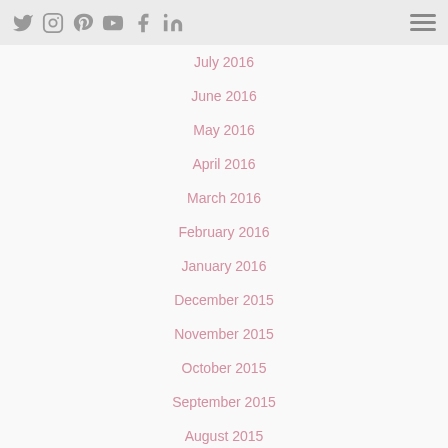Social media icons and hamburger menu
July 2016
June 2016
May 2016
April 2016
March 2016
February 2016
January 2016
December 2015
November 2015
October 2015
September 2015
August 2015
July 2015